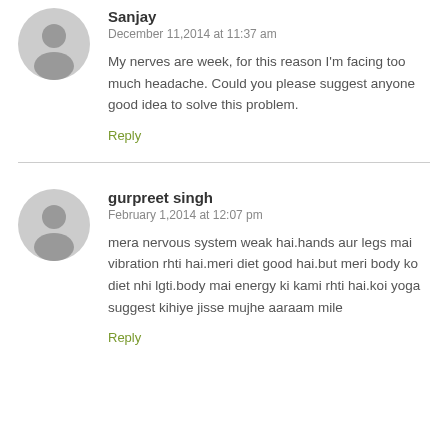Sanjay
December 11,2014 at 11:37 am
My nerves are week, for this reason I'm facing too much headache. Could you please suggest anyone good idea to solve this problem.
Reply
gurpreet singh
February 1,2014 at 12:07 pm
mera nervous system weak hai.hands aur legs mai vibration rhti hai.meri diet good hai.but meri body ko diet nhi lgti.body mai energy ki kami rhti hai.koi yoga suggest kihiye jisse mujhe aaraam mile
Reply